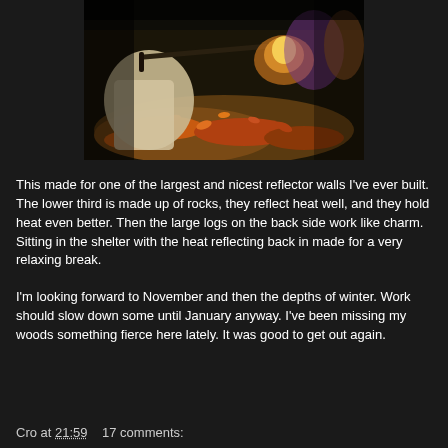[Figure (photo): Outdoor photo showing a person near fallen leaves and logs, with a fire or campfire in the background. Dark scene with autumn foliage on the ground.]
This made for one of the largest and nicest reflector walls I've ever built. The lower third is made up of rocks, they reflect heat well, and they hold heat even better. Then the large logs on the back side work like charm. Sitting in the shelter with the heat reflecting back in made for a very relaxing break.
I'm looking forward to November and then the depths of winter. Work should slow down some until January anyway. I've been missing my woods something fierce here lately. It was good to get out again.
Cro at 21:59   17 comments: